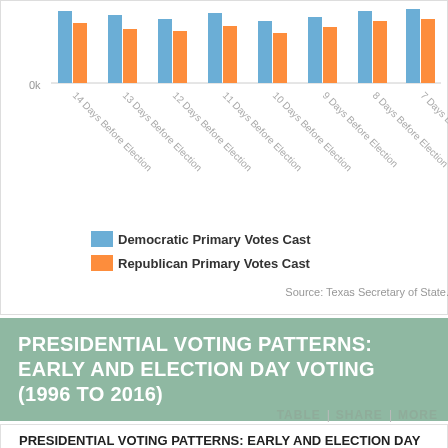[Figure (grouped-bar-chart): Early Voting by Day Before Election]
Source: Texas Secretary of State.
PRESIDENTIAL VOTING PATTERNS: EARLY AND ELECTION DAY VOTING (1996 TO 2016)
TABLE | SHARE | MORE
PRESIDENTIAL VOTING PATTERNS: EARLY AND ELECTION DAY VOTING (1996 TO 2016)
For 15 largest Texas counties.
6M